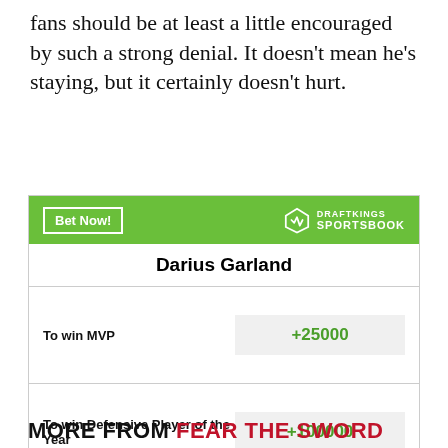fans should be at least a little encouraged by such a strong denial. It doesn't mean he's staying, but it certainly doesn't hurt.
[Figure (other): DraftKings Sportsbook betting widget for Darius Garland showing odds: To win MVP +25000, To win Defensive Player of the Year +100000. Green header with Bet Now button and DraftKings logo. Footer: Odds/Lines subject to change. See draftkings.com for details.]
MORE FROM FEAR THE SWORD